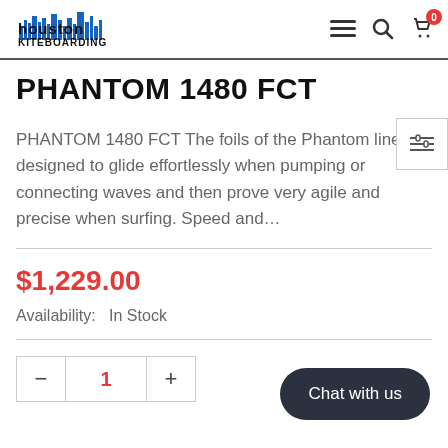Houston Kiteboarding — navigation header with logo, menu, search, cart (0)
PHANTOM 1480 FCT
PHANTOM 1480 FCT The foils of the Phantom line are designed to glide effortlessly when pumping or connecting waves and then prove very agile and precise when surfing. Speed and…
$1,229.00
Availability:   In Stock
1
Chat with us